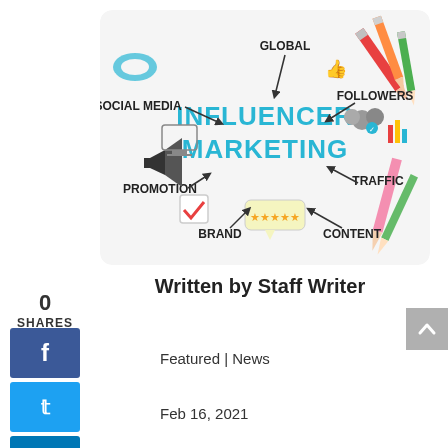[Figure (illustration): Influencer Marketing concept illustration showing a central 'INFLUENCER MARKETING' text in blue with surrounding icons and arrows pointing to keywords: Social Media, Global, Followers, Traffic, Content, Brand, Promotion. Pencils visible in corners.]
0
SHARES
f
t
in
Written by Staff Writer
Featured | News
Feb 16, 2021